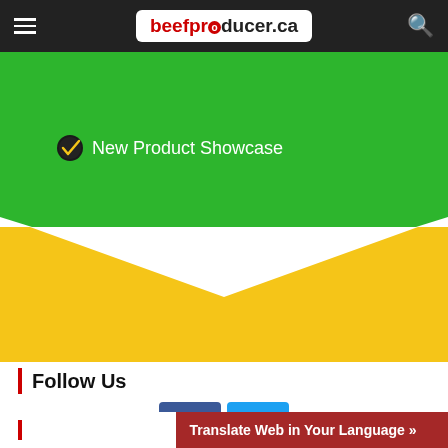beefproducer.ca
[Figure (screenshot): Green and yellow chevron/banner graphic with 'New Product Showcase' text and a checkmark icon on green background, pointing downward chevron shape]
Follow Us
[Figure (logo): Facebook and Twitter social media icon buttons]
Translate Web in Your Language »